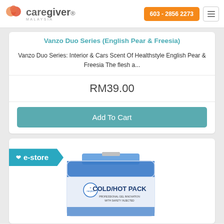Caregiver Malaysia | 603 - 2856 2273
Vanzo Duo Series (English Pear & Freesia)
Vanzo Duo Series: Interior & Cars Scent Of Healthstyle English Pear & Freesia The flesh a...
RM39.00
Add To Cart
[Figure (screenshot): E-store badge with teal background and a Cold/Hot Pack product image below it]